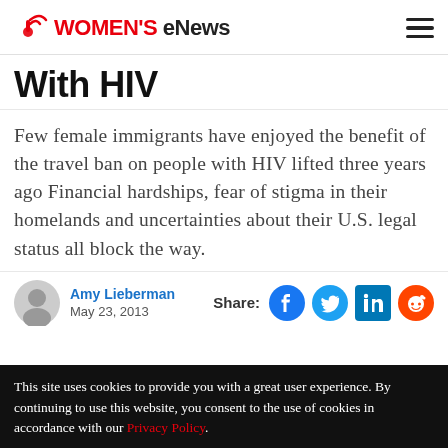Women's eNews
With HIV
Few female immigrants have enjoyed the benefit of the travel ban on people with HIV lifted three years ago Financial hardships, fear of stigma in their homelands and uncertainties about their U.S. legal status all block the way.
Amy Lieberman
May 23, 2013
This site uses cookies to provide you with a great user experience. By continuing to use this website, you consent to the use of cookies in accordance with our Privacy Policy.